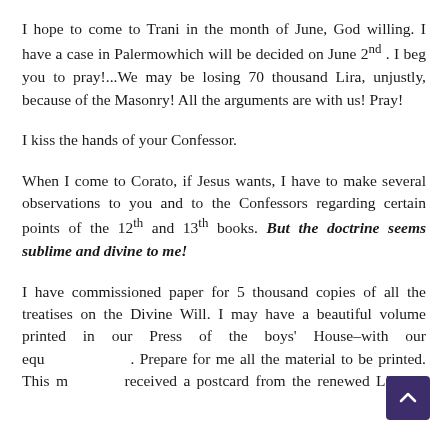I hope to come to Trani in the month of June, God willing. I have a case in Palermowhich will be decided on June 2nd. I beg you to pray!...We may be losing 70 thousand Lira, unjustly, because of the Masonry! All the arguments are with us! Pray!
I kiss the hands of your Confessor.
When I come to Corato, if Jesus wants, I have to make several observations to you and to the Confessors regarding certain points of the 12th and 13th books. But the doctrine seems sublime and divine to me!
I have commissioned paper for 5 thousand copies of all the treatises on the Divine Will. I may have a beautiful volume printed in our Press of the boys' House–with our equipment. Prepare for me all the material to be printed. This m... received a postcard from the renewed Libreria Editrice Pontificia ofRoma, asking me for 100 copies of the Hours of